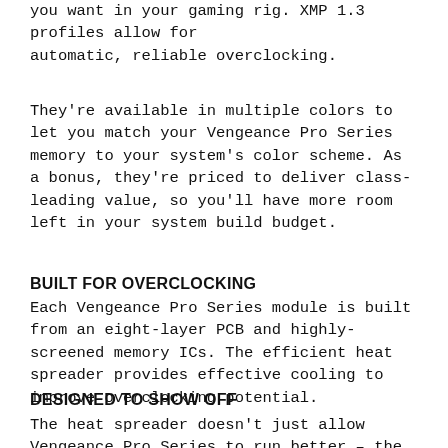you want in your gaming rig. XMP 1.3 profiles allow for automatic, reliable overclocking.
They're available in multiple colors to let you match your Vengeance Pro Series memory to your system's color scheme. As a bonus, they're priced to deliver class-leading value, so you'll have more room left in your system build budget.
BUILT FOR OVERCLOCKING
Each Vengeance Pro Series module is built from an eight-layer PCB and highly-screened memory ICs. The efficient heat spreader provides effective cooling to improve overclocking potential.
DESIGNED TO SHOW OFF
The heat spreader doesn't just allow Vengeance Pro Series to run better – the aggressive yet refined form